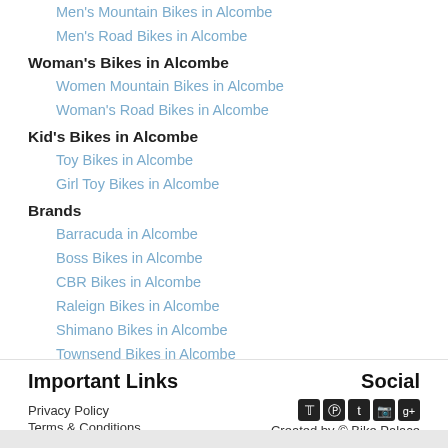Men's Mountain Bikes in Alcombe
Men's Road Bikes in Alcombe
Woman's Bikes in Alcombe
Women Mountain Bikes in Alcombe
Woman's Road Bikes in Alcombe
Kid's Bikes in Alcombe
Toy Bikes in Alcombe
Girl Toy Bikes in Alcombe
Brands
Barracuda in Alcombe
Boss Bikes in Alcombe
CBR Bikes in Alcombe
Raleign Bikes in Alcombe
Shimano Bikes in Alcombe
Townsend Bikes in Alcombe
Viking Bikes in Alcombe
Important Links | Social | Privacy Policy | Terms & Conditions | Created by © Bike Palace